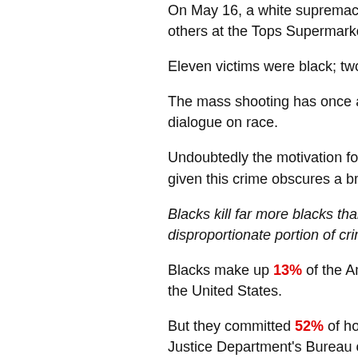On May 16, a white supremacist shot and killed 10 others at the Tops Supermarket in Buffalo, New York.
Eleven victims were black; two were white.
The mass shooting has once again sparked a national dialogue on race.
Undoubtedly the motivation for the shooting was racist, given this crime obscures a brutal truth:
Blacks kill far more blacks than whites do, and commit a disproportionate portion of crimes.
Blacks make up 13% of the American population in the United States.
But they committed 52% of homicides according to the Justice Department's Bureau of Justice Statistics for years in such cases.
Blacks were disproportionately represented as homicide victims.